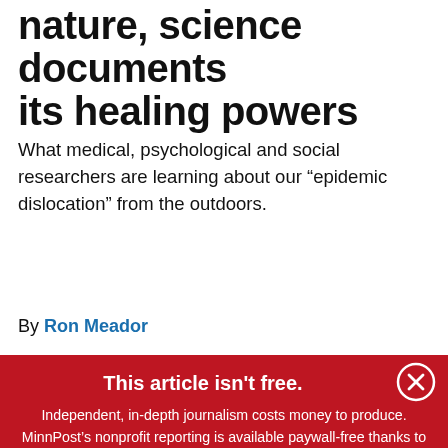nature, science documents its healing powers
What medical, psychological and social researchers are learning about our “epidemic dislocation” from the outdoors.
By Ron Meador
This article isn't free.
Independent, in-depth journalism costs money to produce. MinnPost’s nonprofit reporting is available paywall-free thanks to the financial support of loyal readers like you. Will you make a tax-deductible donation today?
DONATE NOW